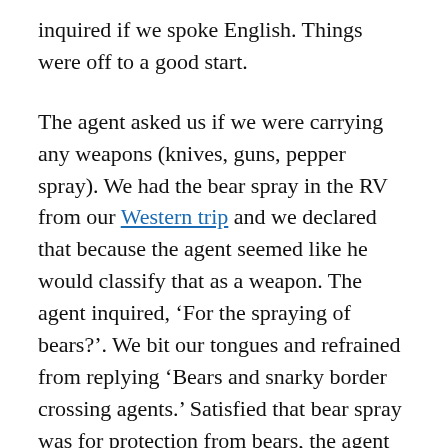inquired if we spoke English. Things were off to a good start.
The agent asked us if we were carrying any weapons (knives, guns, pepper spray). We had the bear spray in the RV from our Western trip and we declared that because the agent seemed like he would classify that as a weapon. The agent inquired, ‘For the spraying of bears?’. We bit our tongues and refrained from replying ‘Bears and snarky border crossing agents.’ Satisfied that bear spray was for protection from bears, the agent then asked us what our commercial load was. When we declared none, we received a lecture that we had used the commercial truck lane and were